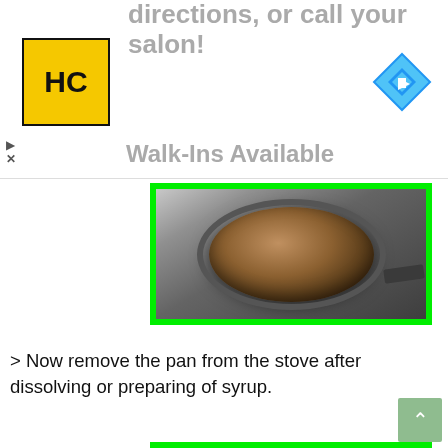[Figure (screenshot): Advertisement banner showing HC hair salon logo, navigation arrow icon, play/close icons, and partially visible text 'directions, or call your salon!' and 'Walk-Ins Available']
[Figure (photo): Photo of a pan on a stove with dark caramelized syrup, outlined with a bright green border]
> Now remove the pan from the stove after dissolving or preparing of syrup.
[Figure (photo): Photo of a dark pan with caramelized golden-brown syrup and a spatula, with Dailynewlearn.com watermark label and arrow, outlined with bright green border]